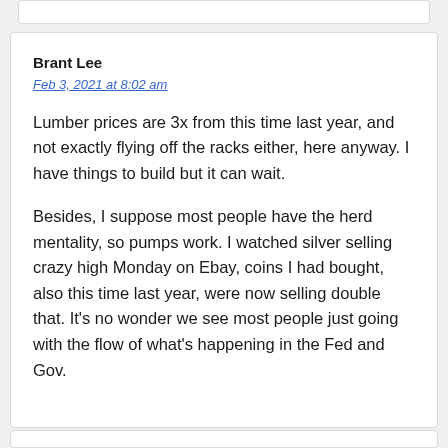Brant Lee
Feb 3, 2021 at 8:02 am
Lumber prices are 3x from this time last year, and not exactly flying off the racks either, here anyway. I have things to build but it can wait.
Besides, I suppose most people have the herd mentality, so pumps work. I watched silver selling crazy high Monday on Ebay, coins I had bought, also this time last year, were now selling double that. It’s no wonder we see most people just going with the flow of what’s happening in the Fed and Gov.